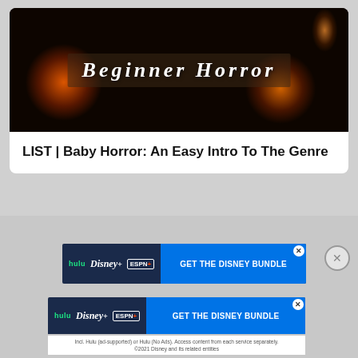[Figure (photo): Banner image with dark horror scene featuring candles and a shadowy figure, with white italic bold text reading 'Beginner Horror' on a semi-transparent overlay]
LIST | Baby Horror: An Easy Intro To The Genre
[Figure (screenshot): Disney Bundle advertisement banner showing hulu, Disney+, ESPN+ logos on dark blue background with blue button reading 'GET THE DISNEY BUNDLE']
[Figure (screenshot): Disney Bundle advertisement banner (larger) showing hulu, Disney+, ESPN+ logos on dark blue background with blue button reading 'GET THE DISNEY BUNDLE', with fine print: Incl. Hulu (ad-supported) or Hulu (No Ads). Access content from each service separately. ©2021 Disney and its related entities]